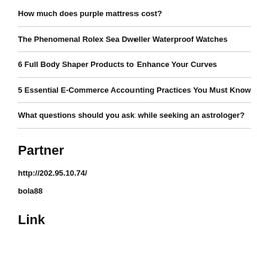How much does purple mattress cost?
The Phenomenal Rolex Sea Dweller Waterproof Watches
6 Full Body Shaper Products to Enhance Your Curves
5 Essential E-Commerce Accounting Practices You Must Know
What questions should you ask while seeking an astrologer?
Partner
http://202.95.10.74/
bola88
Link